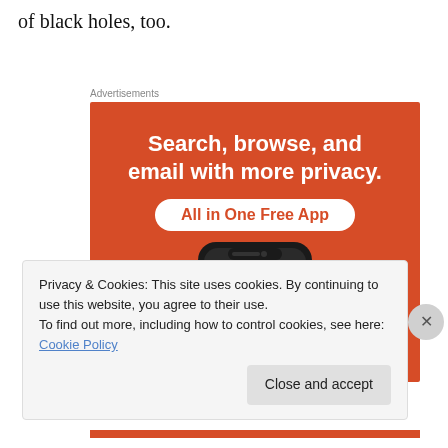of black holes, too.
[Figure (advertisement): DuckDuckGo advertisement on orange background. Headline: 'Search, browse, and email with more privacy.' Button text: 'All in One Free App'. Shows a phone with DuckDuckGo logo.]
Privacy & Cookies: This site uses cookies. By continuing to use this website, you agree to their use.
To find out more, including how to control cookies, see here: Cookie Policy
Close and accept